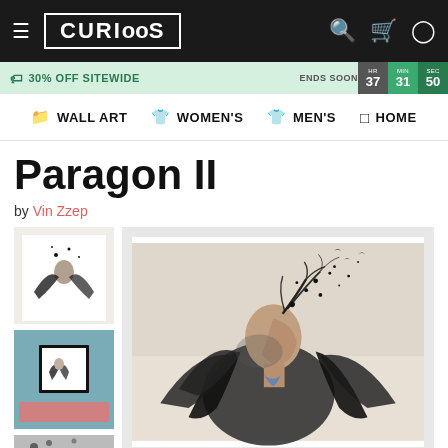[Figure (screenshot): Curioos e-commerce website header with hamburger menu, Curioos logo, search, cart, and account icons on black background]
🏷 30% OFF SITEWIDE   ENDS SOON   HR 37  MIN 31  SEC 50
WALL ART   WOMEN'S   MEN'S   HOME
Paragon II
by Vin Zzep
[Figure (photo): Digital artwork showing a profile of a person with dark wings and birds/particles exploding from their head, double exposure style, monochromatic. Two thumbnails on left side and main large image on right.]